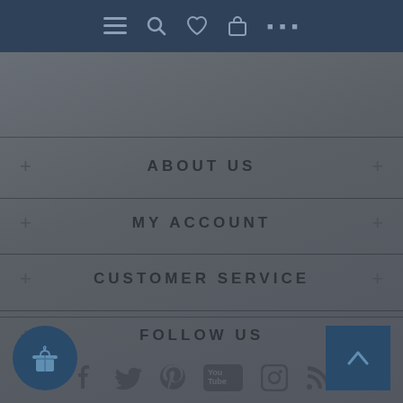[Figure (screenshot): Mobile app top navigation bar with menu, search, heart/wishlist, shopping bag icons and cart count]
ABOUT US
MY ACCOUNT
CUSTOMER SERVICE
FOLLOW US
[Figure (infographic): Social media icons row: Facebook, Twitter, Pinterest, YouTube, Instagram, RSS]
[Figure (infographic): Gift/rewards circular button bottom left and back-to-top square button bottom right]